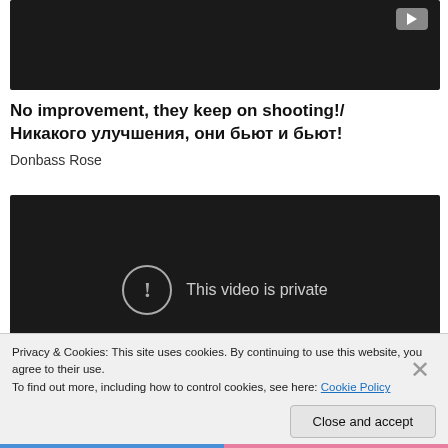[Figure (screenshot): Dark video thumbnail with YouTube play button icon in top right corner]
No improvement, they keep on shooting!/
Никакого улучшения, они бьют и бьют!
Donbass Rose
[Figure (screenshot): Dark video embed showing 'This video is private' message with an exclamation mark in a circle]
Privacy & Cookies: This site uses cookies. By continuing to use this website, you agree to their use.
To find out more, including how to control cookies, see here: Cookie Policy
Close and accept